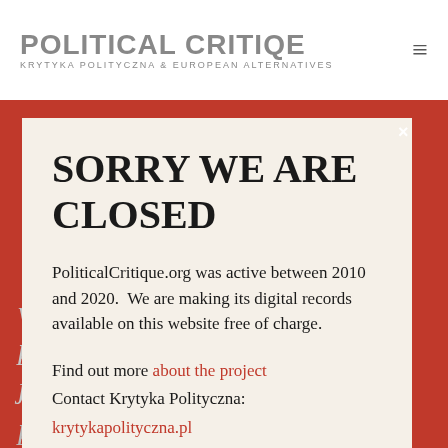POLITICAL CRITIQUE KRYTYKA POLITYCZNA & EUROPEAN ALTERNATIVES
SORRY WE ARE CLOSED
PoliticalCritique.org was active between 2010 and 2020.  We are making its digital records available on this website free of charge.
Find out more about the project
Contact Krytyka Polityczna: krytykapolityczna.pl
we are an independent newsroom producing high-quality journalism in the public interest. We also provide